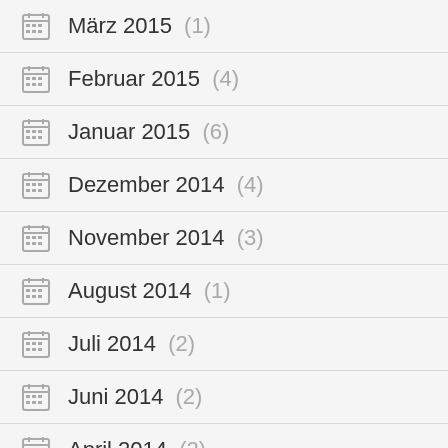März 2015 (1)
Februar 2015 (4)
Januar 2015 (6)
Dezember 2014 (4)
November 2014 (3)
August 2014 (1)
Juli 2014 (2)
Juni 2014 (2)
April 2014 (2)
März 2014 (1)